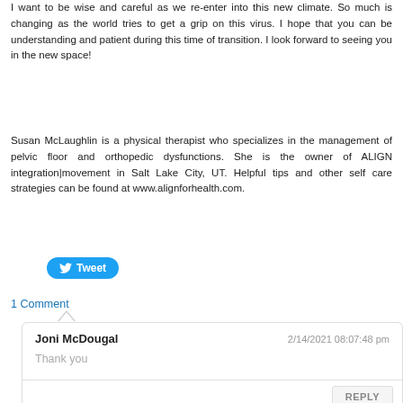I want to be wise and careful as we re-enter into this new climate. So much is changing as the world tries to get a grip on this virus. I hope that you can be understanding and patient during this time of transition. I look forward to seeing you in the new space!
Susan McLaughlin is a physical therapist who specializes in the management of pelvic floor and orthopedic dysfunctions. She is the owner of ALIGN integration|movement in Salt Lake City, UT. Helpful tips and other self care strategies can be found at www.alignforhealth.com.
[Figure (other): Twitter Tweet button]
1 Comment
Joni McDougal
2/14/2021 08:07:48 pm
Thank you
REPLY